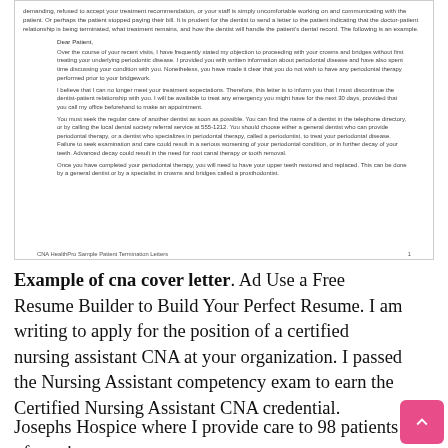[Figure (screenshot): Screenshot of a sample patient termination letter from CNA HealthPro, showing letter text addressed 'Dear Patient,' with paragraphs about discontinuing the dentist-patient relationship and periodontal care instructions. Footer reads 'CNA HealthPro Sample Patient Termination Letters' and page number 1.]
CNA HealthPro Sample Patient Termination Letters    1
Example of cna cover letter. Ad Use a Free Resume Builder to Build Your Perfect Resume. I am writing to apply for the position of a certified nursing assistant CNA at your organization. I passed the Nursing Assistant competency exam to earn the Certified Nursing Assistant CNA credential.
Josephs Hospice where I provide care to 98 patients of varying